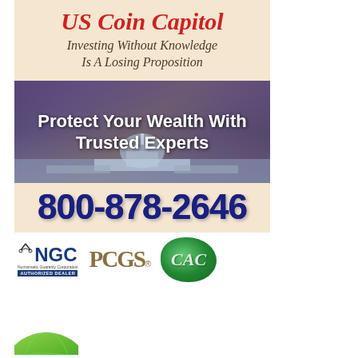US Coin Capitol
Investing Without Knowledge Is A Losing Proposition
[Figure (photo): US Capitol building at dusk with purple/blue dramatic sky, text overlay reading 'Protect Your Wealth With Trusted Experts']
800-878-2646
[Figure (logo): NGC Numismatic Guaranty Corporation Authorized Dealer logo, PCGS logo, CAC hologram logo]